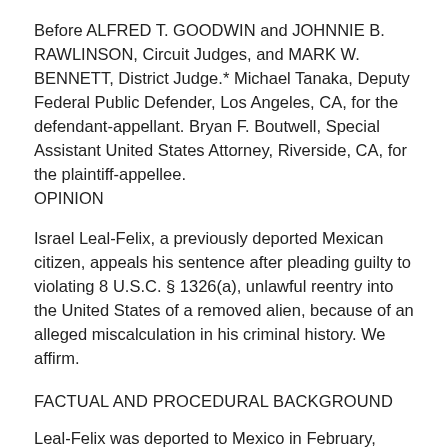Before ALFRED T. GOODWIN and JOHNNIE B. RAWLINSON, Circuit Judges, and MARK W. BENNETT, District Judge.* Michael Tanaka, Deputy Federal Public Defender, Los Angeles, CA, for the defendant-appellant. Bryan F. Boutwell, Special Assistant United States Attorney, Riverside, CA, for the plaintiff-appellee.
OPINION
Israel Leal-Felix, a previously deported Mexican citizen, appeals his sentence after pleading guilty to violating 8 U.S.C. § 1326(a), unlawful reentry into the United States of a removed alien, because of an alleged miscalculation in his criminal history. We affirm.
FACTUAL AND PROCEDURAL BACKGROUND
Leal-Felix was deported to Mexico in February, 2005, after pleading guilty to the aggravated felony of possessing a firearm by a convicted felon. In March, 2009, Leal-Felix